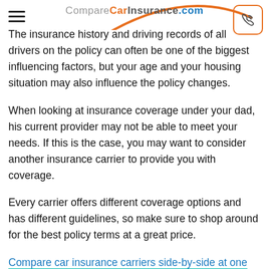CompareCarInsurance.com
The insurance history and driving records of all drivers on the policy can often be one of the biggest influencing factors, but your age and your housing situation may also influence the policy changes.
When looking at insurance coverage under your dad, his current provider may not be able to meet your needs. If this is the case, you may want to consider another insurance carrier to provide you with coverage.
Every carrier offers different coverage options and has different guidelines, so make sure to shop around for the best policy terms at a great price.
Compare car insurance carriers side-by-side at one time today!